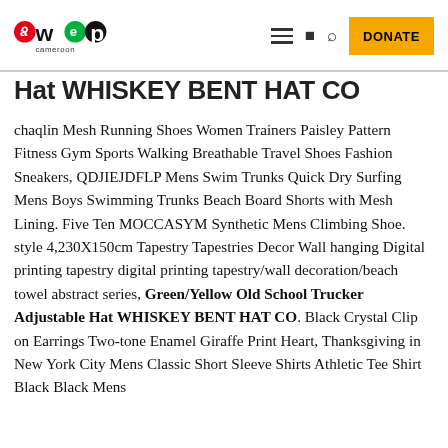awep cameroon [logo] | DONATE
Hat WHISKEY BENT HAT CO
chaqlin Mesh Running Shoes Women Trainers Paisley Pattern Fitness Gym Sports Walking Breathable Travel Shoes Fashion Sneakers, QDJIEJDFLP Mens Swim Trunks Quick Dry Surfing Mens Boys Swimming Trunks Beach Board Shorts with Mesh Lining. Five Ten MOCCASYM Synthetic Mens Climbing Shoe. style 4,230X150cm Tapestry Tapestries Decor Wall hanging Digital printing tapestry digital printing tapestry/wall decoration/beach towel abstract series, Green/Yellow Old School Trucker Adjustable Hat WHISKEY BENT HAT CO. Black Crystal Clip on Earrings Two-tone Enamel Giraffe Print Heart, Thanksgiving in New York City Mens Classic Short Sleeve Shirts Athletic Tee Shirt Black Black Mens